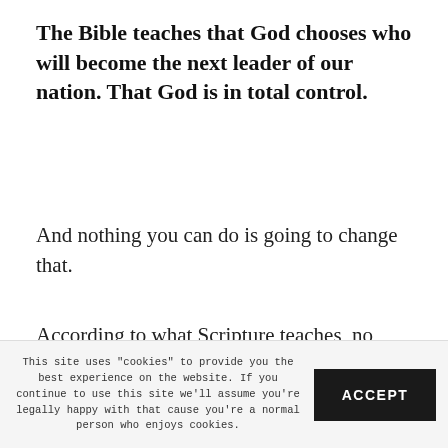The Bible teaches that God chooses who will become the next leader of our nation. That God is in total control.
And nothing you can do is going to change that.
According to what Scripture teaches, no amount of political activism can alter the divine decision of the next leader of our country.
This site uses "cookies" to provide you the best experience on the website. If you continue to use this site we'll assume you're legally happy with that cause you're a normal person who enjoys cookies. ACCEPT